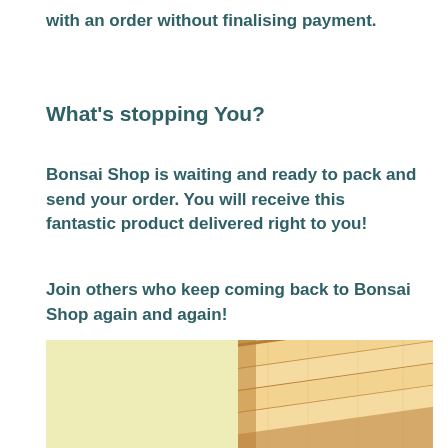with an order without finalising payment.
What's stopping You?
Bonsai Shop is waiting and ready to pack and send your order. You will receive this fantastic product delivered right to you!
Join others who keep coming back to Bonsai Shop again and again!
[Figure (photo): Product image split: left half is a plain light yellow-green background; right half shows stacked wooden boards/slats in a close-up shot.]